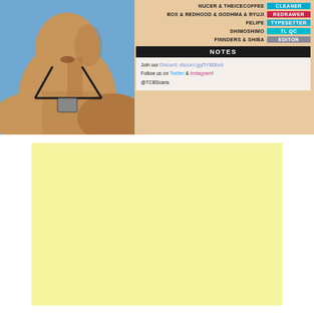[Figure (illustration): Manga-style illustration of a muscular male figure from chest up, wearing a black harness/necklace, with a blue sky background]
NUCER & THEICECOFFEE | CLEANER
BOX & REDHOOD & GODHMA & RYUJI | REDRAWER
FELIPE | TYPESETTER
SHIMOSHIMO | TL QC
FINNDERS & SHIBA | EDITOR
NOTES
Join our Discord: discord.gg/5YB0Gmt
Follow us on Twitter & Instagram!
@TCBScans
[Figure (other): Large light yellow blank rectangle block]